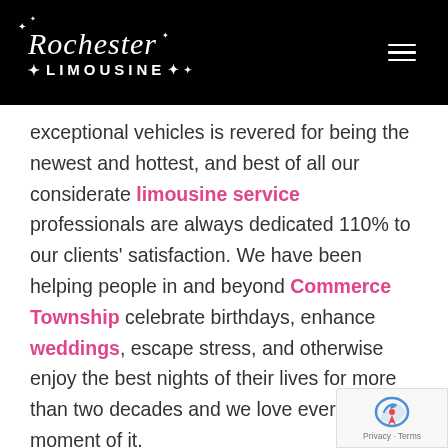Rochester Limousine
exceptional vehicles is revered for being the newest and hottest, and best of all our considerate limousine service professionals are always dedicated 110% to our clients' satisfaction. We have been helping people in and beyond Commerce Township celebrate birthdays, enhance weddings, escape stress, and otherwise enjoy the best nights of their lives for more than two decades and we love every moment of it.